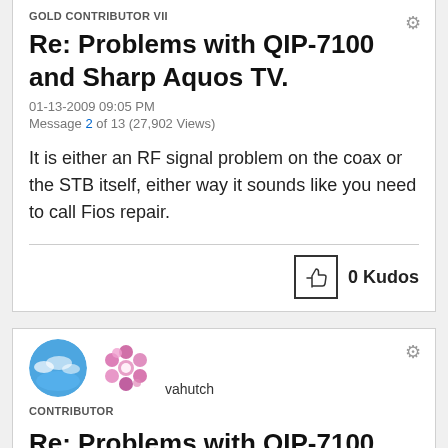GOLD CONTRIBUTOR VII
Re: Problems with QIP-7100 and Sharp Aquos TV.
01-13-2009 09:05 PM
Message 2 of 13 (27,902 Views)
It is either an RF signal problem on the coax or the STB itself, either way it sounds like you need to call Fios repair.
0 Kudos
[Figure (illustration): Circular blue avatar (sky/clouds) and pink floral decoration image for user vahutch]
vahutch
CONTRIBUTOR
Re: Problems with QIP-7100 and Sharp